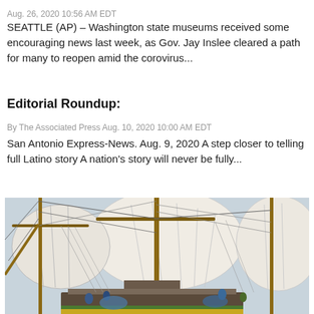Aug. 26, 2020 10:56 AM EDT
SEATTLE (AP) – Washington state museums received some encouraging news last week, as Gov. Jay Inslee cleared a path for many to reopen amid the corovirus...
Editorial Roundup:
By The Associated Press Aug. 10, 2020 10:00 AM EDT
San Antonio Express-News. Aug. 9, 2020 A step closer to telling full Latino story A nation's story will never be fully...
[Figure (photo): Close-up photograph of a tall ship with large white billowing sails, rigging, masts, and ropes visible against a light sky background. Some crew members and colorful elements visible at the base.]